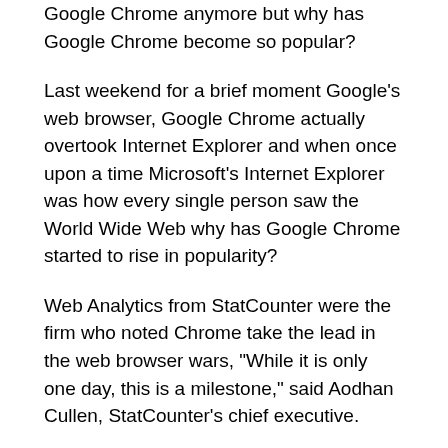Google Chrome anymore but why has Google Chrome become so popular?
Last weekend for a brief moment Google's web browser, Google Chrome actually overtook Internet Explorer and when once upon a time Microsoft's Internet Explorer was how every single person saw the World Wide Web why has Google Chrome started to rise in popularity?
Web Analytics from StatCounter were the firm who noted Chrome take the lead in the web browser wars, "While it is only one day, this is a milestone," said Aodhan Cullen, StatCounter's chief executive.
On 18th March 2012, Google Chrome was used for 32.7% of all browsing whilst Internet Explorer had a 32.5% share. This was over the weekend, but then when Monday morning came around